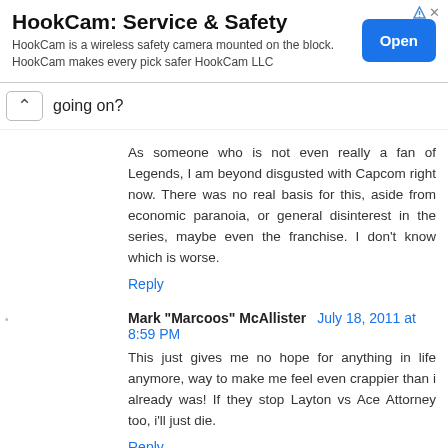[Figure (screenshot): Advertisement banner for HookCam: Service & Safety with Open button]
going on?
As someone who is not even really a fan of Legends, I am beyond disgusted with Capcom right now. There was no real basis for this, aside from economic paranoia, or general disinterest in the series, maybe even the franchise. I don't know which is worse.
Reply
Mark "Marcoos" McAllister July 18, 2011 at 8:59 PM
This just gives me no hope for anything in life anymore, way to make me feel even crappier than i already was! If they stop Layton vs Ace Attorney too, i'll just die.
Reply